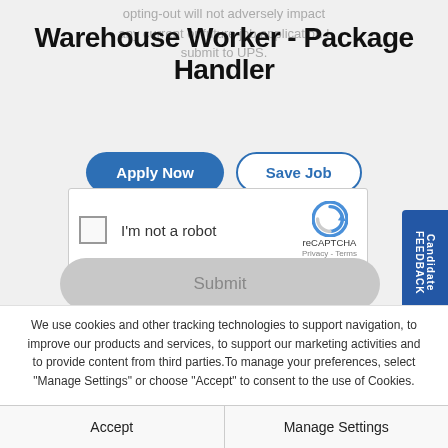opting-out will not adversely impact any current or future job application I submit to UPS.
Warehouse Worker - Package Handler
[Figure (screenshot): Apply Now button (blue, rounded) and Save Job button (white with blue border, rounded)]
[Figure (screenshot): reCAPTCHA widget with checkbox labeled 'I'm not a robot' and reCAPTCHA logo with Privacy and Terms links]
[Figure (screenshot): Disabled grey Submit button]
[Figure (screenshot): Blue vertical Candidate FEEDBACK tab on right side]
We use cookies and other tracking technologies to support navigation, to improve our products and services, to support our marketing activities and to provide content from third parties.To manage your preferences, select "Manage Settings" or choose "Accept" to consent to the use of Cookies.
[Figure (screenshot): Accept button and Manage Settings button in cookie consent banner]